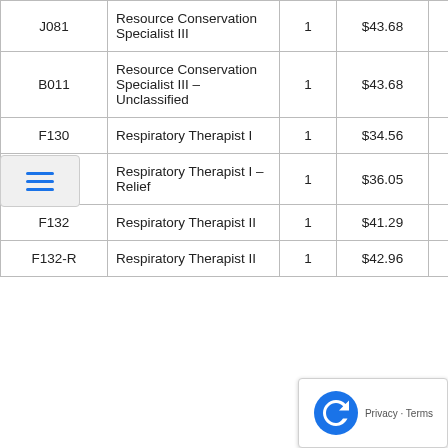| Code | Title | Num | Rate 1 | Rate 2 | Extra |
| --- | --- | --- | --- | --- | --- |
| J081 | Resource Conservation Specialist III | 1 | $43.68 | $46.19 | $ |
| B011 | Resource Conservation Specialist III – Unclassified | 1 | $43.68 | $46.19 | $ |
| F130 | Respiratory Therapist I | 1 | $34.56 | $36.53 | $ |
| F130-R | Respiratory Therapist I – Relief | 1 | $36.05 | $38.11 | $ |
| F132 | Respiratory Therapist II | 1 | $41.29 | $43.66 | $ |
| F132-R | Respiratory Therapist II | 1 | $42.96 | $45.53 | $ |